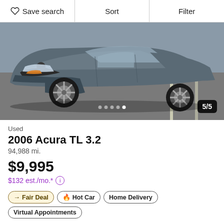Save search  Sort  Filter
[Figure (photo): Gray 2006 Acura TL 3.2 sedan photographed from front-left angle in a parking lot, showing the front fascia, headlights, and front wheel. Image counter shows 5/5 with 5 navigation dots.]
Used
2006 Acura TL 3.2
94,988 mi.
$9,995
$132 est./mo.*
→ Fair Deal  🔥 Hot Car  Home Delivery  Virtual Appointments
Free CARFAX 1 Owner Report →